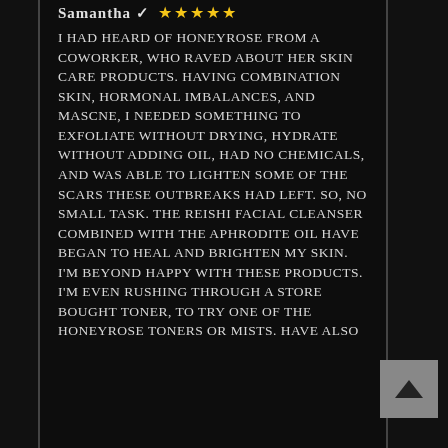Samantha ✓ ★★★★★
I HAD HEARD OF HONEYROSE FROM A COWORKER, WHO RAVED ABOUT HER SKIN CARE PRODUCTS. HAVING COMBINATION SKIN, HORMONAL IMBALANCES, AND MASCNE, I NEEDED SOMETHING TO EXFOLIATE WITHOUT DRYING, HYDRATE WITHOUT ADDING OIL, HAD NO CHEMICALS, AND WAS ABLE TO LIGHTEN SOME OF THE SCARS THESE OUTBREAKS HAD LEFT. SO, NO SMALL TASK. THE REISHI FACIAL CLEANSER COMBINED WITH THE APHRODITE OIL HAVE BEGAN TO HEAL AND BRIGHTEN MY SKIN. I'M BEYOND HAPPY WITH THESE PRODUCTS. I'M EVEN RUSHING THROUGH A STORE BOUGHT TONER, TO TRY ONE OF THE HONEYROSE TONERS OR MISTS. HAVE ALSO